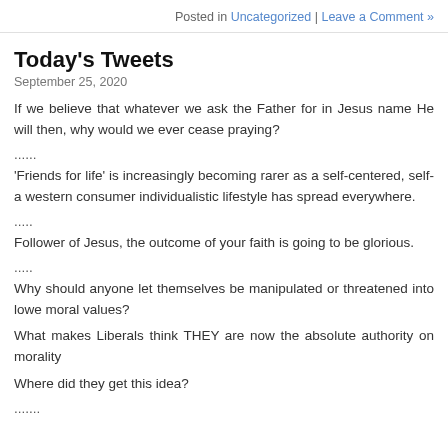Posted in Uncategorized | Leave a Comment »
Today's Tweets
September 25, 2020
If we believe that whatever we ask the Father for in Jesus name He will then, why would we ever cease praying?
......
'Friends for life' is increasingly becoming rarer as a self-centered, self-a western consumer individualistic lifestyle has spread everywhere.
.....
Follower of Jesus, the outcome of your faith is going to be glorious.
.....
Why should anyone let themselves be manipulated or threatened into lowe moral values?
What makes Liberals think THEY are now the absolute authority on morality
Where did they get this idea?
.......